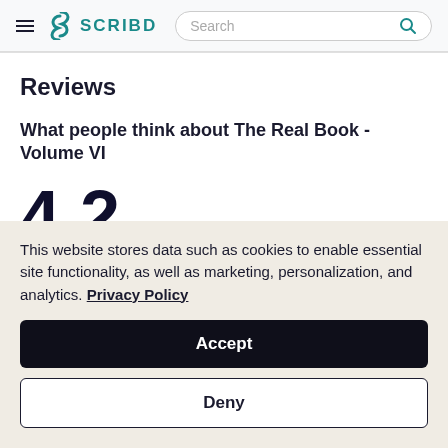SCRIBD
Reviews
What people think about The Real Book - Volume VI
4.2
This website stores data such as cookies to enable essential site functionality, as well as marketing, personalization, and analytics. Privacy Policy
Accept
Deny